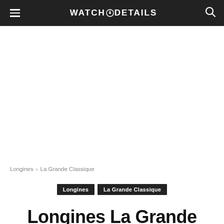WATCH⊙DETAILS
Longines › La Grande Classique
Longines   La Grande Classique
Longines La Grande